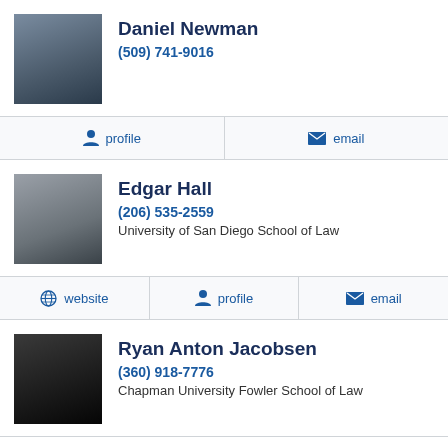Daniel Newman
(509) 741-9016
profile
email
Edgar Hall
(206) 535-2559
University of San Diego School of Law
website
profile
email
Ryan Anton Jacobsen
(360) 918-7776
Chapman University Fowler School of Law